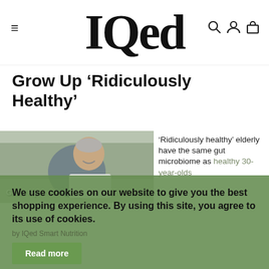IQed
Grow Up ‘Ridiculously Healthy’
[Figure (photo): Older man smiling outdoors in winter, wearing athletic clothing with 'Grow Up' and 'IQed' text visible. Trees in background.]
‘Ridiculously healthy’ elderly have the same gut microbiome as healthy 30-year-olds
We use cookies on our website to give you the best shopping experience. By using this site, you agree to its use of cookies.
Read more
I agree